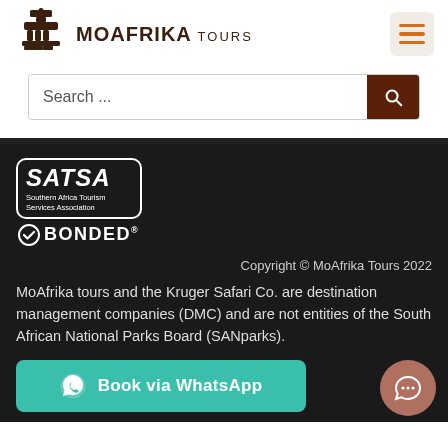[Figure (logo): MoAfrika Tours logo with African symbol icon and brand name]
Search ...
[Figure (logo): SATSA Southern Africa Tourism Services Association BONDED badge]
Copyright © MoAfrika Tours 2022
MoAfrika tours and the Kruger Safari Co. are destination management companies (DMC) and are not entities of the South African National Parks Board (SANparks).
Book via WhatsApp